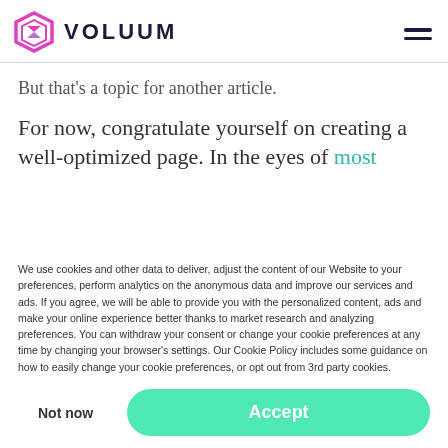VOLUUM
But that’s a topic for another article.
For now, congratulate yourself on creating a well-optimized page. In the eyes of most
We use cookies and other data to deliver, adjust the content of our Website to your preferences, perform analytics on the anonymous data and improve our services and ads. If you agree, we will be able to provide you with the personalized content, ads and make your online experience better thanks to market research and analyzing preferences. You can withdraw your consent or change your cookie preferences at any time by changing your browser’s settings. Our Cookie Policy includes some guidance on how to easily change your cookie preferences, or opt out from 3rd party cookies.
Not now
Accept